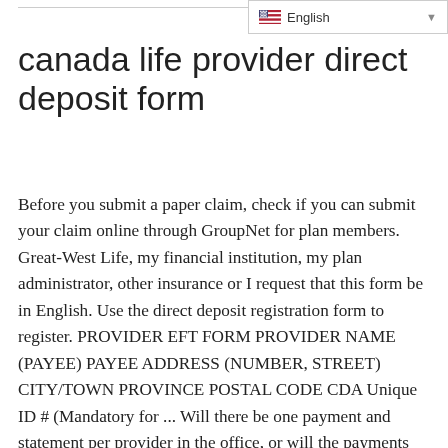English
canada life provider direct deposit form
Before you submit a paper claim, check if you can submit your claim online through GroupNet for plan members. Great-West Life, my financial institution, my plan administrator, other insurance or I request that this form be in English. Use the direct deposit registration form to register. PROVIDER EFT FORM PROVIDER NAME (PAYEE) PAYEE ADDRESS (NUMBER, STREET) CITY/TOWN PROVINCE POSTAL CODE CDA Unique ID # (Mandatory for ... Will there be one payment and statement per provider in the office, or will the payments and statements be bulked for all providers? Provider Direct Deposit/Remittance Providers who participate in